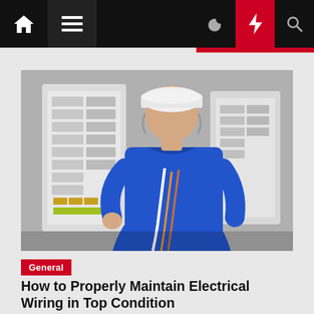Navigation bar with home, menu, moon, bolt, and search icons
[Figure (photo): Electrician in blue workwear and white hard hat viewed from behind, inspecting an electrical panel/circuit breaker box with colorful wires]
General
How to Properly Maintain Electrical Wiring in Top Condition
admin  1 year ago